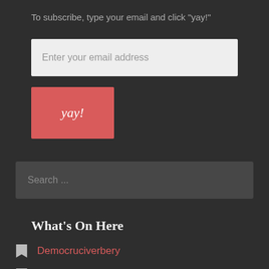To subscribe, type your email and click "yay!"
Enter your email address
yay!
Search ...
What's On Here
Democruciverbery
Help Me Get These Boots On
Help Me Not Be Such an Ass